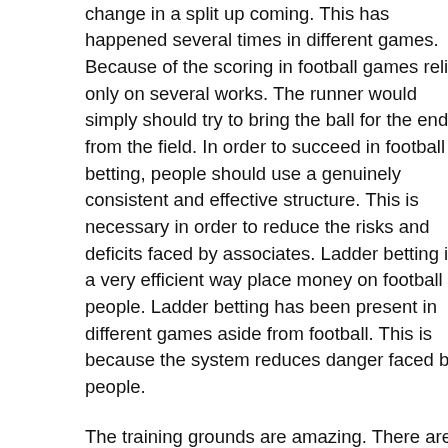change in a split up coming. This has happened several times in different games. Because of the scoring in football games relies only on several works. The runner would simply should try to bring the ball for the end from the field. In order to succeed in football betting, people should use a genuinely consistent and effective structure. This is necessary in order to reduce the risks and deficits faced by associates. Ladder betting is a very efficient way place money on football people. Ladder betting has been present in different games aside from football. This is because the system reduces danger faced by people.
The training grounds are amazing. There are many pitches in Paphos and across Cyprus. [link] to the fact said, football in Cyprus is a sizable thing and the Cypriots go very genuinely. The professional football stadiums are huge really. There is one in Paphos, Peiya, Limassol and Nicosia. Go watch a match there if you happen to on holiday in Cyprus to be shocked by the volume of mad Football live scores hooligans are generally Cypriots. They are the biggest of